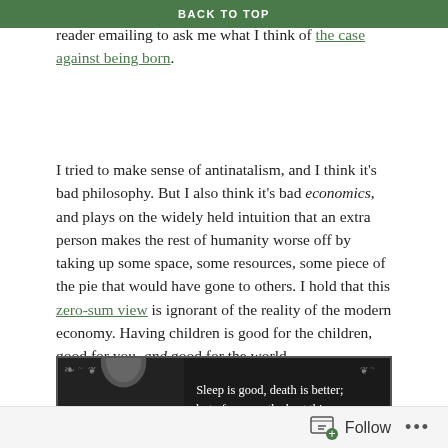BACK TO TOP
Yorker, an appearance on Sam Harris' podcast, and a reader emailing to ask me what I think of the case against being born.
I tried to make sense of antinatalism, and I think it's bad philosophy. But I also think it's bad economics, and plays on the widely held intuition that an extra person makes the rest of humanity worse off by taking up some space, some resources, some piece of the pie that would have gone to others. I hold that this zero-sum view is ignorant of the reality of the modern economy. Having children is good for the children, good for you, and good for the world.
[Figure (photo): Black and white image of a person on the left side, with a quote on the right: 'Sleep is good, death is better; but of course, the best thing' on dark background with ornamental border.]
Follow ...